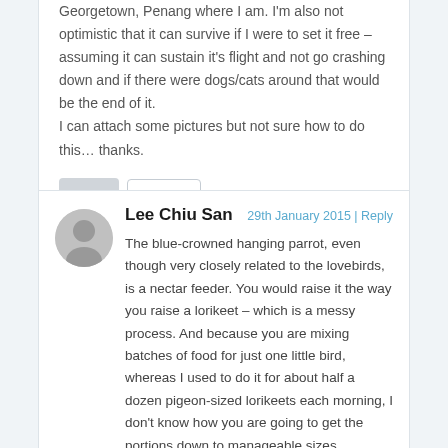Georgetown, Penang where I am. I'm also not optimistic that it can survive if I were to set it free – assuming it can sustain it's flight and not go crashing down and if there were dogs/cats around that would be the end of it.
I can attach some pictures but not sure how to do this… thanks.
[Figure (other): Like button (thumbs up icon) with count showing 0]
Lee Chiu San
29th January 2015 | Reply
The blue-crowned hanging parrot, even though very closely related to the lovebirds, is a nectar feeder. You would raise it the way you raise a lorikeet – which is a messy process. And because you are mixing batches of food for just one little bird, whereas I used to do it for about half a dozen pigeon-sized lorikeets each morning, I don't know how you are going to get the portions down to manageable sizes. Anyway, here goes, with my recipe for feeding big lories. You can adjust the proportions down accordingly for your little bird.